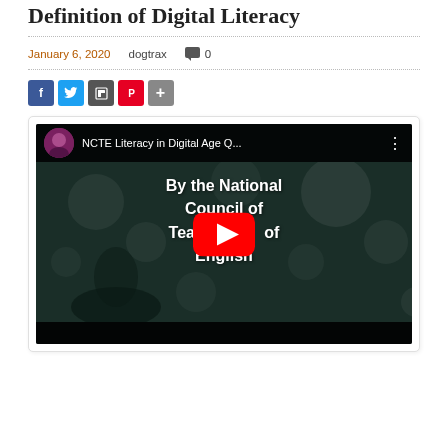Definition of Digital Literacy
January 6, 2020    dogtrax    💬 0
[Figure (screenshot): YouTube video thumbnail showing 'NCTE Literacy in Digital Age Q...' with text overlay reading 'By the National Council of Teachers of English' and a YouTube play button in the center. Dark bokeh background with a person visible in upper left.]